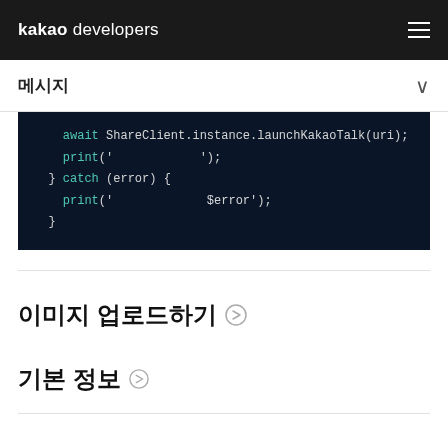kakao developers
메시지
[Figure (screenshot): Dark-themed code block showing Flutter/Dart code: await ShareClient.instance.launchKakaoTalk(uri); print(' '); } catch (error) { print(' $error'); }]
이미지 업로드하기
기본 정보